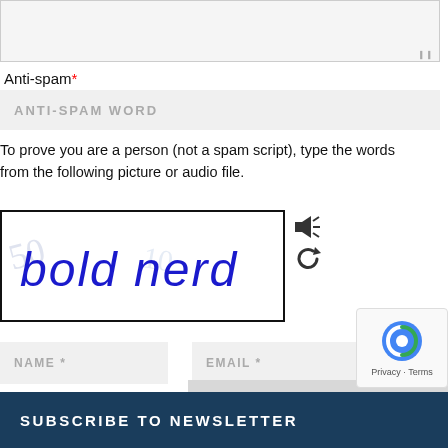[Figure (screenshot): Textarea input stub at top of page (empty comment input area with resize handle)]
Anti-spam*
[Figure (screenshot): Anti-spam word input field with placeholder text ANTI-SPAM WORD]
To prove you are a person (not a spam script), type the words from the following picture or audio file.
[Figure (screenshot): CAPTCHA image showing handwritten text 'bold nerd' in blue ink with faded background text, alongside audio and refresh icons]
[Figure (screenshot): Name input field with placeholder NAME *]
[Figure (screenshot): Email input field with placeholder EMAIL *]
Save my name, email, and website in this browser for the next time I comment.
[Figure (screenshot): POST COMMENT button]
[Figure (screenshot): reCAPTCHA badge with Privacy · Terms]
SUBSCRIBE TO NEWSLETTER